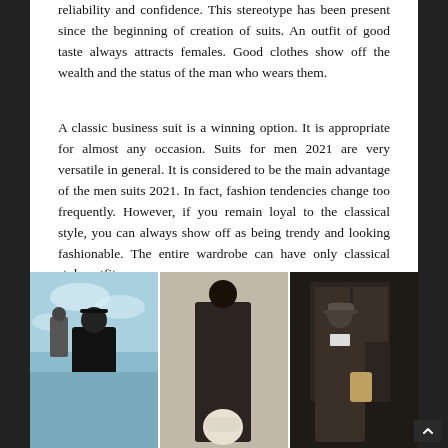reliability and confidence. This stereotype has been present since the beginning of creation of suits. An outfit of good taste always attracts females. Good clothes show off the wealth and the status of the man who wears them.
A classic business suit is a winning option. It is appropriate for almost any occasion. Suits for men 2021 are very versatile in general. It is considered to be the main advantage of the men suits 2021. In fact, fashion tendencies change too frequently. However, if you remain loyal to the classical style, you can always show off as being trendy and looking fashionable. The entire wardrobe can have only classical style outfits.
[Figure (photo): Three fashion photos of men in dark suits/outfits. Left: man in black long coat with black hat in blue/cloud setting. Center: tall man in dark shirt and pants with white bag, neutral background. Right: man in dark jacket with cap, holding bag, interior/lobby setting.]